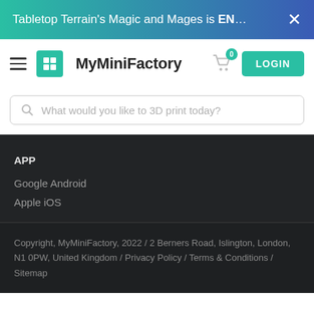Tabletop Terrain's Magic and Mages is EN... ×
[Figure (logo): MyMiniFactory logo with hamburger menu, cart icon with badge 0, and LOGIN button]
What would you like to 3D print today?
APP
Google Android
Apple iOS
Copyright, MyMiniFactory, 2022 / 2 Berners Road, Islington, London, N1 0PW, United Kingdom / Privacy Policy / Terms & Conditions / Sitemap